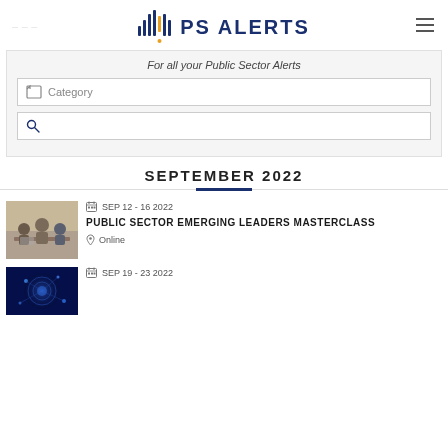PS ALERTS
For all your Public Sector Alerts
Category
SEPTEMBER 2022
[Figure (photo): Group of business professionals meeting around a table with laptops]
SEP 12 - 16 2022
PUBLIC SECTOR EMERGING LEADERS MASTERCLASS
Online
[Figure (photo): Abstract blue digital/AI visualization]
SEP 19 - 23 2022